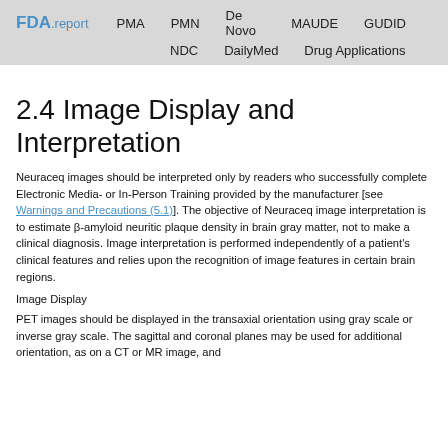FDA.report  PMA  PMN  De Novo  MAUDE  GUDID  NDC  DailyMed  Drug Applications
2.4 Image Display and Interpretation
Neuraceq images should be interpreted only by readers who successfully complete Electronic Media- or In-Person Training provided by the manufacturer [see Warnings and Precautions (5.1)]. The objective of Neuraceq image interpretation is to estimate β-amyloid neuritic plaque density in brain gray matter, not to make a clinical diagnosis. Image interpretation is performed independently of a patient's clinical features and relies upon the recognition of image features in certain brain regions.
Image Display
PET images should be displayed in the transaxial orientation using gray scale or inverse gray scale. The sagittal and coronal planes may be used for additional orientation, as on a CT or MR image, and